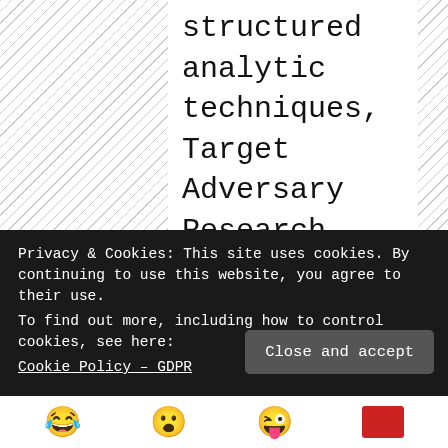structured analytic techniques, Target Adversary Research, cyber counterintelligence, strategic intelligence analysis, estimative intelligence, forecasting intelligence, warning intelligence, threat intelligence
[Figure (other): Globe/web icon in a light grey rounded square box]
https://www.treadstone71.com/
Privacy & Cookies: This site uses cookies. By continuing to use this website, you agree to their use.
To find out more, including how to control cookies, see here: Cookie Policy – GDPR
Close and accept